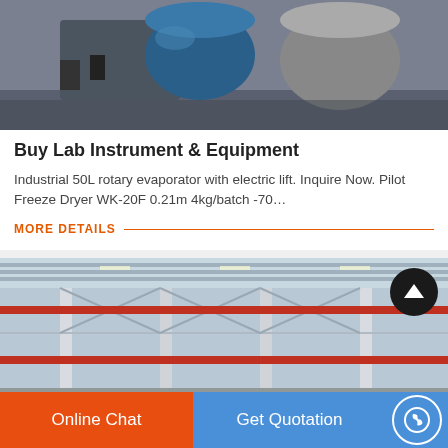[Figure (photo): Industrial rotary evaporator equipment in a factory setting, with heavy machinery and a large blue drum visible]
Buy Lab Instrument & Equipment
Industrial 50L rotary evaporator with electric lift. Inquire Now. Pilot Freeze Dryer WK-20F 0.21m 4kg/batch -70…
MORE DETAILS
[Figure (photo): Interior of an industrial warehouse with steel structural columns and roof trusses, red overhead cranes visible]
Online Chat   Get Quotation